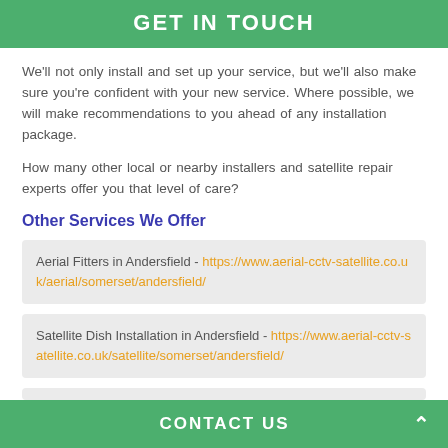GET IN TOUCH
We'll not only install and set up your service, but we'll also make sure you're confident with your new service. Where possible, we will make recommendations to you ahead of any installation package.
How many other local or nearby installers and satellite repair experts offer you that level of care?
Other Services We Offer
Aerial Fitters in Andersfield - https://www.aerial-cctv-satellite.co.uk/aerial/somerset/andersfield/
Satellite Dish Installation in Andersfield - https://www.aerial-cctv-satellite.co.uk/satellite/somerset/andersfield/
CONTACT US